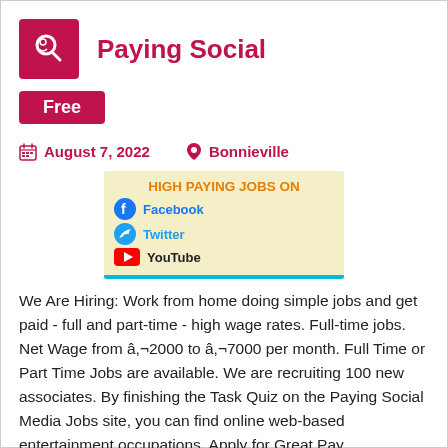Paying Social
Free
August 7, 2022   Bonnieville
[Figure (infographic): Advertisement banner for high paying jobs on social media platforms (Facebook, Twitter, YouTube) with a person sitting with a laptop.]
We Are Hiring: Work from home doing simple jobs and get paid - full and part-time - high wage rates. Full-time jobs. Net Wage from â,¬2000 to â,¬7000 per month. Full Time or Part Time Jobs are available. We are recruiting 100 new associates. By finishing the Task Quiz on the Paying Social Media Jobs site, you can find online web-based entertainment occupations. Apply for Great Pay